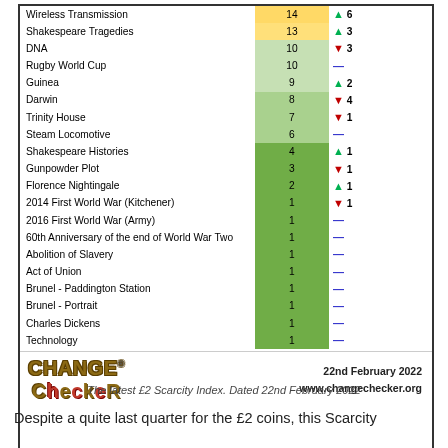|  | Score | Change |
| --- | --- | --- |
| Wireless Transmission | 14 | ↑ 6 |
| Shakespeare Tragedies | 13 | ↑ 3 |
| DNA | 10 | ↓ 3 |
| Rugby World Cup | 10 | — |
| Guinea | 9 | ↑ 2 |
| Darwin | 8 | ↓ 4 |
| Trinity House | 7 | ↓ 1 |
| Steam Locomotive | 6 | — |
| Shakespeare Histories | 4 | ↑ 1 |
| Gunpowder Plot | 3 | ↓ 1 |
| Florence Nightingale | 2 | ↑ 1 |
| 2014 First World War (Kitchener) | 1 | ↓ 1 |
| 2016 First World War (Army) | 1 | — |
| 60th Anniversary of the end of World War Two | 1 | — |
| Abolition of Slavery | 1 | — |
| Act of Union | 1 | — |
| Brunel - Paddington Station | 1 | — |
| Brunel - Portrait | 1 | — |
| Charles Dickens | 1 | — |
| Technology | 1 | — |
[Figure (logo): Change Checker logo with gold and red stylized text]
22nd February 2022
www.changechecker.org
The latest £2 Scarcity Index. Dated 22nd February 2022
Despite a quite last quarter for the £2 coins, this Scarcity